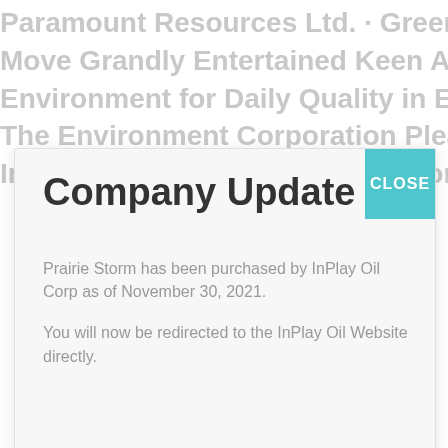Company Update
Prairie Storm has been purchased by InPlay Oil Corp as of November 30, 2021.
You will now be redirected to the InPlay Oil Website directly.